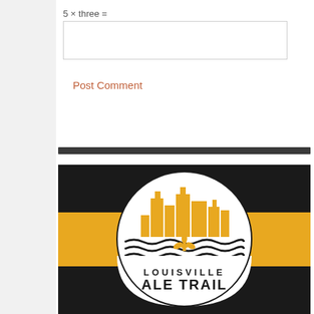5 × three =
Post Comment
[Figure (logo): Louisville Ale Trail logo: circular badge with black and gold/orange horizontal stripes background, white circle containing gold city skyline silhouette, wavy river lines, fleur-de-lis symbol, and text LOUISVILLE ALE TRAIL]